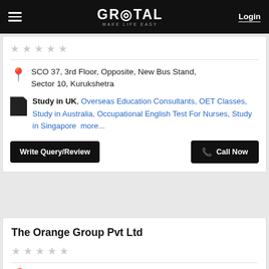GROTAL MAKE LIFE EASY — Login
★★★★★ (empty stars rating)
SCO 37, 3rd Floor, Opposite, New Bus Stand, Sector 10, Kurukshetra
Study in UK, Overseas Education Consultants, OET Classes, Study in Australia, Occupational English Test For Nurses, Study in Singapore  more...
Write Query/Review
Call Now
The Orange Group Pvt Ltd
★★★★★ (empty stars rating)